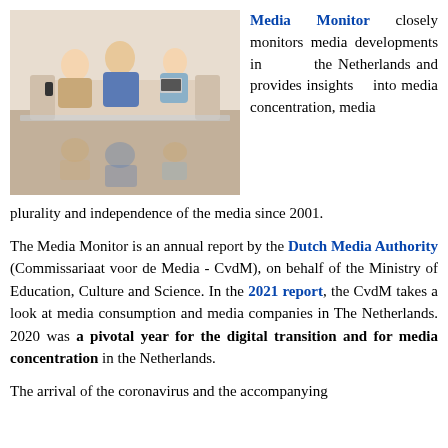[Figure (photo): Family of three sitting on a couch with devices, reflected on a glass table below]
Media Monitor closely monitors media developments in the Netherlands and provides insights into media concentration, media plurality and independence of the media since 2001.
The Media Monitor is an annual report by the Dutch Media Authority (Commissariaat voor de Media - CvdM), on behalf of the Ministry of Education, Culture and Science. In the 2021 report, the CvdM takes a look at media consumption and media companies in The Netherlands. 2020 was a pivotal year for the digital transition and for media concentration in the Netherlands.
The arrival of the coronavirus and the accompanying